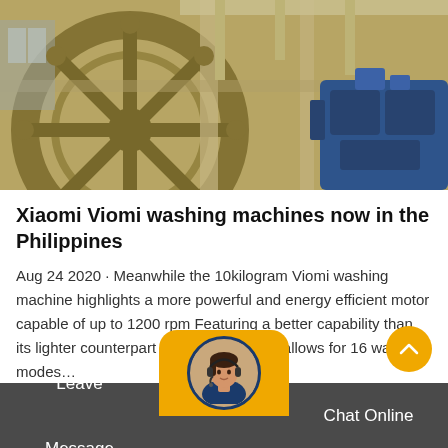[Figure (photo): Industrial machinery photograph showing large metal gear wheels and blue mechanical components inside a factory or industrial facility]
Xiaomi Viomi washing machines now in the Philippines
Aug 24 2020 · Meanwhile the 10kilogram Viomi washing machine highlights a more powerful and energy efficient motor capable of up to 1200 rpm Featuring a better capability than its lighter counterpart does the machine allows for 16 washing modes…
[Figure (photo): Customer service agent avatar photo of a woman with headset, displayed in a circular frame on an orange rounded badge]
Leave Message   Chat Online